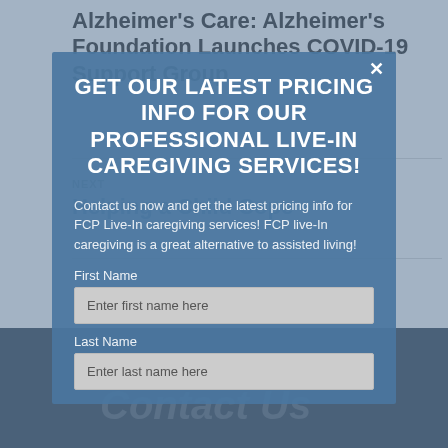Alzheimer's Care: Alzheimer's Foundation Launches COVID-19 Support Group
NEXT
Helping a Child Cope
[Figure (screenshot): Modal popup overlay on a webpage with blue background. Contains heading 'GET OUR LATEST PRICING INFO FOR OUR PROFESSIONAL LIVE-IN CAREGIVING SERVICES!', body text about FCP Live-In caregiving services, and a form with First Name and Last Name fields.]
GET OUR LATEST PRICING INFO FOR OUR PROFESSIONAL LIVE-IN CAREGIVING SERVICES!
Contact us now and get the latest pricing info for FCP Live-In caregiving services! FCP live-In caregiving is a great alternative to assisted living!
First Name
Enter first name here
Last Name
Enter last name here
Contact Us